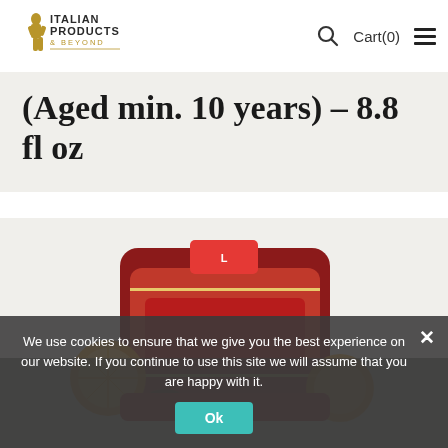Italian Products & Beyond — Cart(0)
(Aged min. 10 years) – 8.8 fl oz
[Figure (photo): Product photo of an Italian food item in decorative packaging with citrus slices]
We use cookies to ensure that we give you the best experience on our website. If you continue to use this site we will assume that you are happy with it.